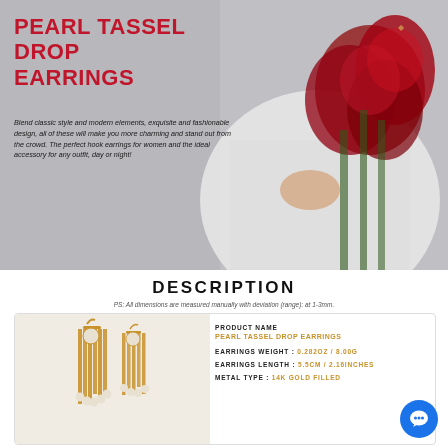[Figure (photo): Banner photo of woman in white off-shoulder dress holding red roses, wearing pearl tassel drop earrings, against grey background. Two gold pearl tassel drop earrings shown in foreground.]
PEARL TASSEL DROP EARRINGS
Blend classic style and modern elements, exquisite and fashionable design, all of these will make you more charming and stand out from the crowd. The perfect hook earrings for women and the ideal accessory for any outfit, day or night!
DESCRIPTION
PS: All dimensions are measured manually with deviation (range): at 1-3mm.
[Figure (photo): Two gold pearl tassel drop earrings displayed side by side on white background inside product info card.]
| Attribute | Value |
| --- | --- |
| PRODUCT NAME | PEARL TASSEL DROP EARRINGS |
| EARRINGS WEIGHT | 0.282oz / 8.00g |
| EARRINGS LENGTH | 5.5CM / 2.16INCHES |
| METAL TYPE | 14K GOLD FILLED |